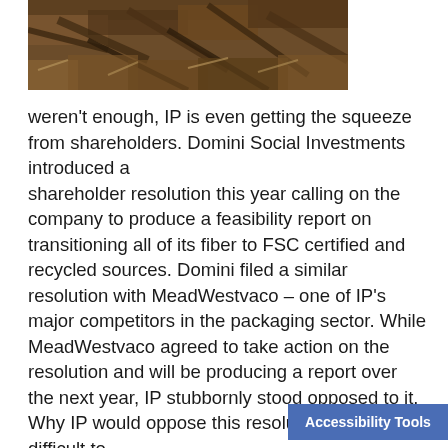[Figure (photo): Photograph of tangled tree roots and bark, brown tones, top portion of a nature/forestry image]
weren't enough, IP is even getting the squeeze from shareholders. Domini Social Investments introduced a shareholder resolution this year calling on the company to produce a feasibility report on transitioning all of its fiber to FSC certified and recycled sources. Domini filed a similar resolution with MeadWestvaco – one of IP's major competitors in the packaging sector. While MeadWestvaco agreed to take action on the resolution and will be producing a report over the next year, IP stubbornly stood opposed to it. Why IP would oppose this resolution is very difficult to